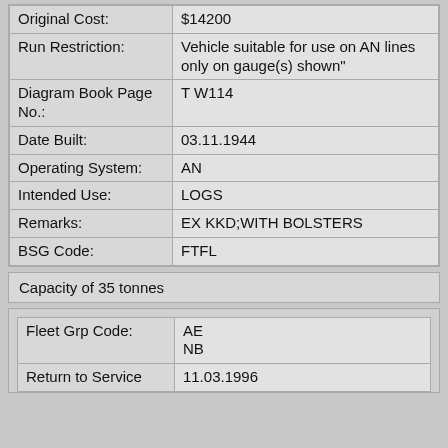| Field | Value |
| --- | --- |
| Original Cost: | $14200 |
| Run Restriction: | Vehicle suitable for use on AN lines only on gauge(s) shown" |
| Diagram Book Page No.: | T W114 |
| Date Built: | 03.11.1944 |
| Operating System: | AN |
| Intended Use: | LOGS |
| Remarks: | EX KKD;WITH BOLSTERS |
| BSG Code: | FTFL |
Capacity of 35 tonnes
| Field | Value |
| --- | --- |
| Fleet Grp Code: | AE
NB |
| Return to Service | 11.03.1996 |